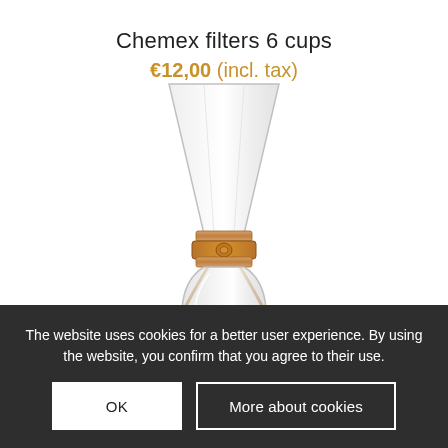Chemex filters 6 cups
€12,00 (incl. tax)
[Figure (photo): Chemex glass coffee maker with wooden collar and leather tie, shown from the front against a white background.]
The website uses cookies for a better user experience. By using the website, you confirm that you agree to their use.
OK
More about cookies